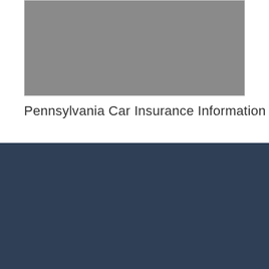[Figure (photo): Gray placeholder image representing Pennsylvania car insurance content]
Pennsylvania Car Insurance Information
[Figure (logo): QuoteInspector logo with magnifying glass icon containing a dollar sign, 'Quote' in green italic and 'Inspector' in white]
We are a free online resource for anyone interested in learning more about auto insurance. Our goal is to be an objective, third-party resource for everything auto insurance related.
Follow us on: